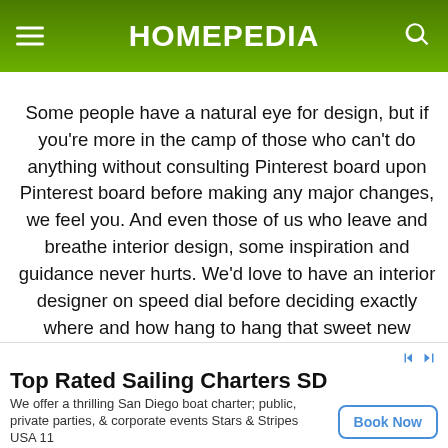HOMEPEDIA
Some people have a natural eye for design, but if you're more in the camp of those who can't do anything without consulting Pinterest board upon Pinterest board before making any major changes, we feel you. And even those of us who leave and breathe interior design, some inspiration and guidance never hurts. We'd love to have an interior designer on speed dial before deciding exactly where and how hang to hang that sweet new wall art we bought on a whim so we don't make any
Top Rated Sailing Charters SD
We offer a thrilling San Diego boat charter; public, private parties, & corporate events Stars & Stripes USA 11
Book Now